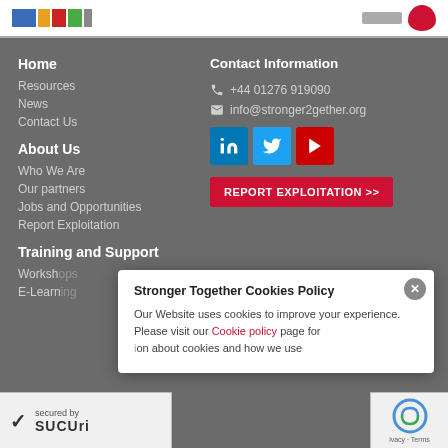[Figure (screenshot): Top white bar with colorful logo blocks and red ribbon/heart icon on right]
Home
Resources
News
Contact Us
About Us
Who We Are
Our partners
Jobs and Opportunities
Report Exploitation
Training and Support
Workshops
E-Learning
Contact Information
+44 01276 919090
info@stronger2gether.org
[Figure (infographic): LinkedIn, Twitter, YouTube social media icons]
REPORT EXPLOITATION >>
Stronger Together Cookies Policy
Our Website uses cookies to improve your experience. Please visit our Cookie policy page for information about cookies and how we use
[Figure (logo): Sucuri security badge with checkmark]
[Figure (logo): reCAPTCHA badge]